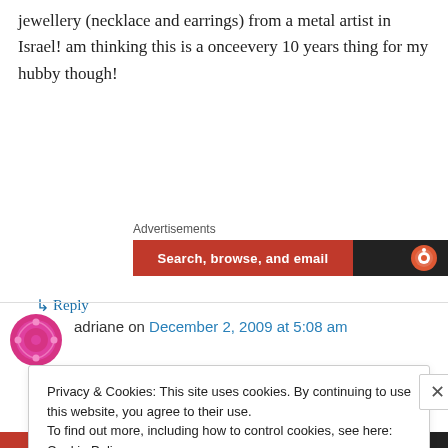jewellery (necklace and earrings) from a metal artist in Israel! am thinking this is a onceevery 10 years thing for my hubby though!
↳ Reply
Advertisements
[Figure (screenshot): Advertisement banner with orange section labeled 'Search, browse, and email' and dark section with DuckDuckGo logo]
adriane on December 2, 2009 at 5:08 am
Privacy & Cookies: This site uses cookies. By continuing to use this website, you agree to their use.
To find out more, including how to control cookies, see here: Cookie Policy